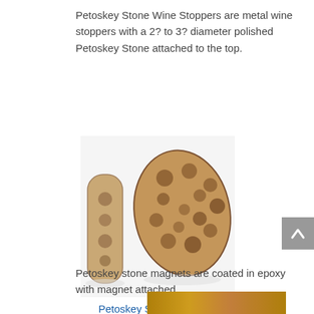Petoskey Stone Wine Stoppers are metal wine stoppers with a 2? to 3? diameter polished Petoskey Stone attached to the top.
[Figure (photo): Two polished Petoskey stones: a smaller elongated piece on the left and a larger rounded flat stone on the right, both showing the characteristic coral fossil pattern in brown/tan tones.]
Petoskey Stone Magnents
Petoskey stone magnets are coated in epoxy with magnet attached.
[Figure (photo): Bottom strip showing a partially visible image with golden/amber tones.]